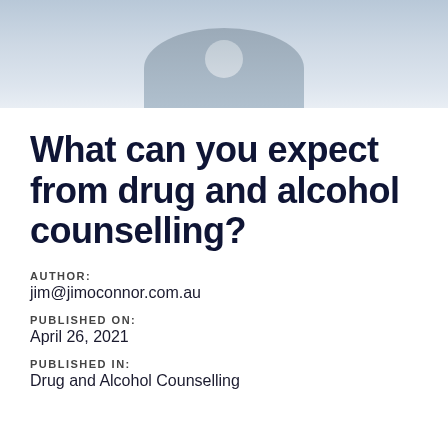[Figure (photo): Photo of a person sitting, partially visible at top of page, with light/grey background tones]
What can you expect from drug and alcohol counselling?
AUTHOR:
jim@jimoconnor.com.au
PUBLISHED ON:
April 26, 2021
PUBLISHED IN:
Drug and Alcohol Counselling